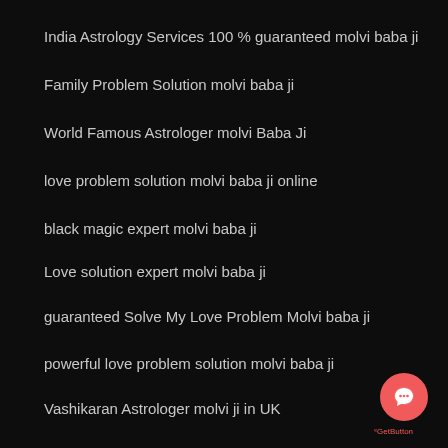India Astrology Services 100 % guaranteed molvi baba ji
Family Problem Solution molvi baba ji
World Famous Astrologer molvi Baba Ji
love problem solution molvi baba ji online
black magic expert molvi baba ji
Love solution expert molvi baba ji
guaranteed Solve My Love Problem Molvi baba ji
powerful love problem solution molvi baba ji
Vashikaran Astrologer molvi ji in UK
[Figure (logo): GetButton chat widget - red circle with speech bubble icon and AGetButton label]